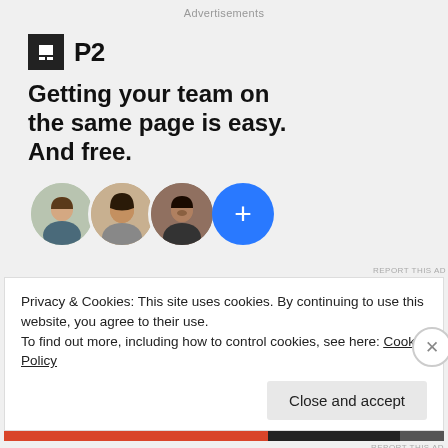Advertisements
[Figure (logo): P2 logo: black square with white window/screen icon, followed by bold text 'P2']
Getting your team on the same page is easy. And free.
[Figure (illustration): Three circular avatar photos of people (two women, one man) plus a blue circle with a white plus sign]
REPORT THIS AD
Privacy & Cookies: This site uses cookies. By continuing to use this website, you agree to their use.
To find out more, including how to control cookies, see here: Cookie Policy
Close and accept